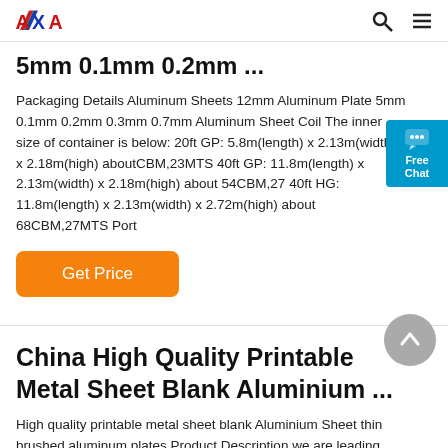AXA logo, search icon, menu icon
5mm 0.1mm 0.2mm ...
Packaging Details Aluminum Sheets 12mm Aluminum Plate 5mm 0.1mm 0.2mm 0.3mm 0.7mm Aluminum Sheet Coil The inner size of container is below: 20ft GP: 5.8m(length) x 2.13m(width) x 2.18m(high) aboutCBM,23MTS 40ft GP: 11.8m(length) x 2.13m(width) x 2.18m(high) about 54CBM,27 40ft HG: 11.8m(length) x 2.13m(width) x 2.72m(high) about 68CBM,27MTS Port
Get Price
China High Quality Printable Metal Sheet Blank Aluminium ...
High quality printable metal sheet blank Aluminium Sheet thin brushed aluminum plates Product Description we are leading